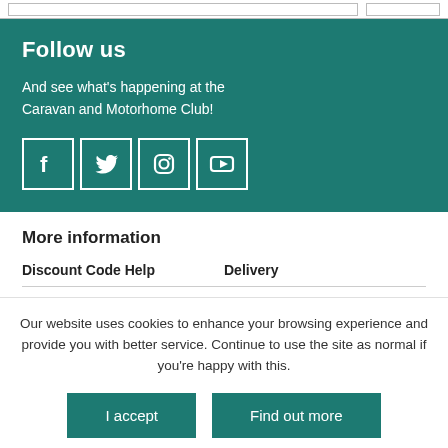Follow us
And see what's happening at the Caravan and Motorhome Club!
[Figure (illustration): Four social media icon buttons: Facebook, Twitter, Instagram, YouTube — white icons in teal/white bordered squares]
More information
Discount Code Help    Delivery
Our website uses cookies to enhance your browsing experience and provide you with better service. Continue to use the site as normal if you're happy with this.
I accept    Find out more